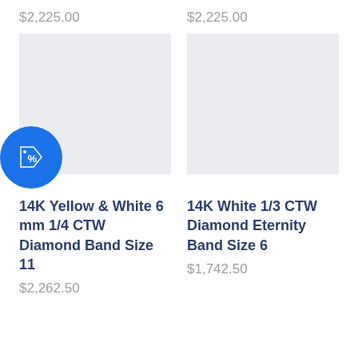$2,225.00
$2,225.00
[Figure (photo): Product image placeholder left — light gray rectangle with blue discount badge showing percent tag icon]
[Figure (photo): Product image placeholder right — light gray rectangle]
14K Yellow & White 6 mm 1/4 CTW Diamond Band Size 11
$2,262.50
14K White 1/3 CTW Diamond Eternity Band Size 6
$1,742.50